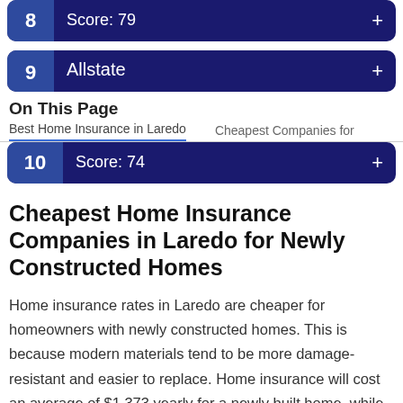8  Score: 79
9  Allstate
On This Page
Best Home Insurance in Laredo   Cheapest Companies for
10  Score: 74
Cheapest Home Insurance Companies in Laredo for Newly Constructed Homes
Home insurance rates in Laredo are cheaper for homeowners with newly constructed homes. This is because modern materials tend to be more damage-resistant and easier to replace. Home insurance will cost an average of $1,373 yearly for a newly built home, while the cost for an old